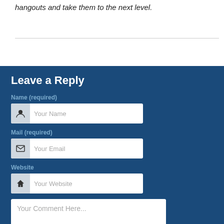hangouts and take them to the next level.
Leave a Reply
Name (required)
Your Name
Mail (required)
Your Email
Website
Your Website
Your Comment Here...